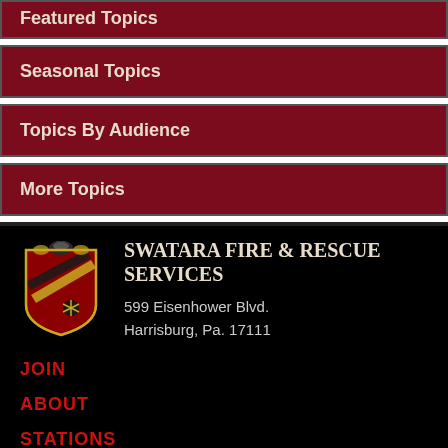Seasonal Topics
Topics By Audience
More Topics
SWATARA FIRE & RESCUE SERVICES
599 Eisenhower Blvd.
Harrisburg, Pa. 17111
JOIN
ABOUT
STATIONS